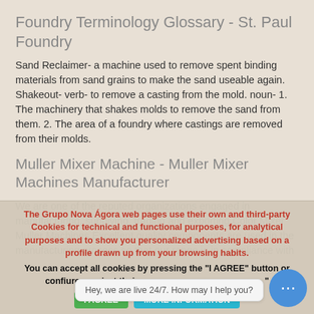Foundry Terminology Glossary - St. Paul Foundry
Sand Reclaimer- a machine used to remove spent binding materials from sand grains to make the sand useable again. Shakeout- verb- to remove a casting from the mold. noun- 1. The machinery that shakes molds to remove the sand from them. 2. The area of a foundry where castings are removed from their molds.
Muller Mixer Machine - Muller Mixer Machines Manufacturer
We are one of the reputed organizations engaged in manufacturing, supplying, trading and exporting Color Mixer Muller Machines.Excellent quality components are used in the manufacturing process so that our range is in compliance with
The Grupo Nova Ágora web pages use their own and third-party Cookies for technical and functional purposes, for analytical purposes and to show you personalized advertising based on a profile drawn up from your browsing habits.
You can accept all cookies by pressing the "I AGREE" button or configure or reject their
Hey, we are live 24/7. How may I help you?